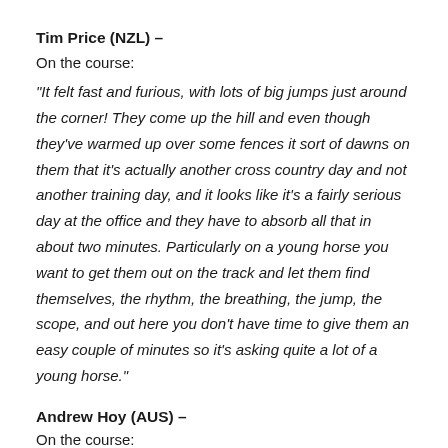Tim Price (NZL) –
On the course:
“It felt fast and furious, with lots of big jumps just around the corner! They come up the hill and even though they’ve warmed up over some fences it sort of dawns on them that it’s actually another cross country day and not another training day, and it looks like it’s a fairly serious day at the office and they have to absorb all that in about two minutes. Particularly on a young horse you want to get them out on the track and let them find themselves, the rhythm, the breathing, the jump, the scope, and out here you don’t have time to give them an easy couple of minutes so it’s asking quite a lot of a young horse.”
Andrew Hoy (AUS) –
On the course: